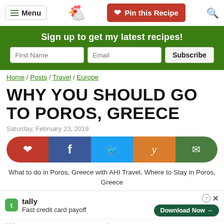Menu | Pin this Recipe
Sign up to get my latest recipes!
First Name | Email | Subscribe
Home / Posts / Travel / Europe
WHY YOU SHOULD GO TO POROS, GREECE
Saturday, February 23, 2019
[Figure (infographic): Social share bar with Pinterest, Facebook, Twitter, Yummly, and Email buttons in a pill shape]
What to do in Poros, Greece with AHI Travel, Where to Stay in Poros, Greece
[Figure (infographic): Tally advertisement banner: Fast credit card payoff, Download Now button]